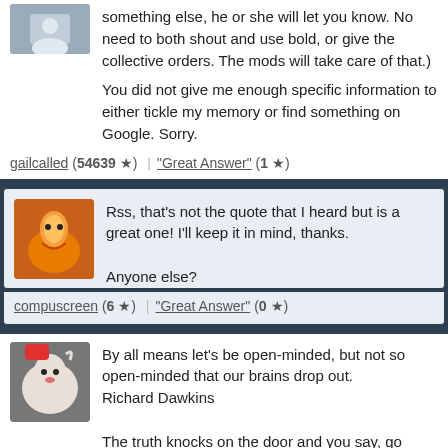something else, he or she will let you know. No need to both shout and use bold, or give the collective orders. The mods will take care of that.)
You did not give me enough specific information to either tickle my memory or find something on Google. Sorry.
gailcalled (54639 ★) | "Great Answer" (1 ★)
Rss, that's not the quote that I heard but is a great one! I'll keep it in mind, thanks.
Anyone else?
compuscreen (6 ★) | "Great Answer" (0 ★)
By all means let's be open-minded, but not so open-minded that our brains drop out.
Richard Dawkins
The truth knocks on the door and you say, go away, I'm looking for the truth, and it goes away. Puzzling.
Robert M. Pirsig
Let yourself be open and life will be easier. A spoon of salt in a glass of water makes the water undrinkable. A spoon of